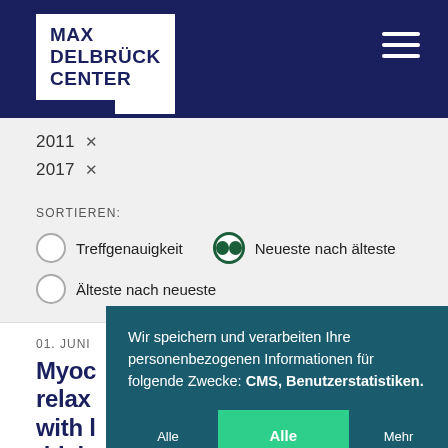[Figure (logo): Max Delbrück Center logo — white box with dark blue text on dark blue header background, with hamburger menu icon top right]
2011 ×
2017 ×
SORTIEREN:
Treffgenauigkeit
Neueste nach älteste
Älteste nach neueste
01. JUNI
Myoc… relax… with l… thick…
Wir speichern und verarbeiten Ihre personenbezogenen Informationen für folgende Zwecke: CMS, Benutzerstatistiken.
Alle ablehnen
Alle akzeptieren
Mehr erfahren...